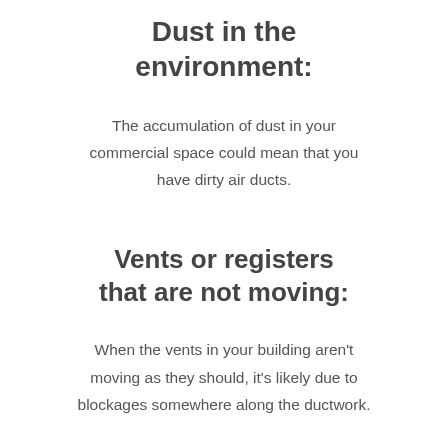Dust in the environment:
The accumulation of dust in your commercial space could mean that you have dirty air ducts.
Vents or registers that are not moving:
When the vents in your building aren't moving as they should, it's likely due to blockages somewhere along the ductwork.
Foul odours: